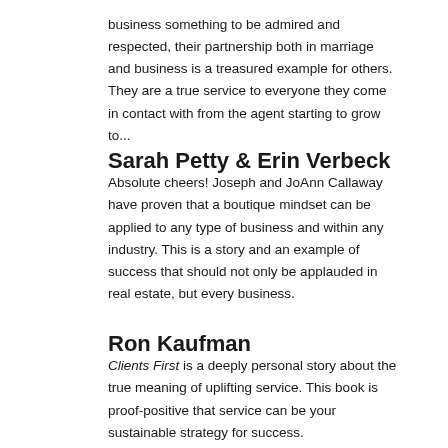business something to be admired and respected, their partnership both in marriage and business is a treasured example for others.  They are a true service to everyone they come in contact with from the agent starting to grow to...
Sarah Petty & Erin Verbeck
Absolute cheers! Joseph and JoAnn Callaway have proven that a boutique mindset can be applied to any type of business and within any industry. This is a story and an example of success that should not only be applauded in real estate, but every business.
Ron Kaufman
Clients First is a deeply personal story about the true meaning of uplifting service. This book is proof-positive that service can be your sustainable strategy for success.
Jay Thompson